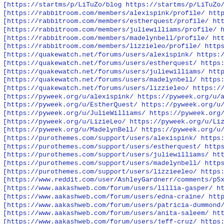[https://startms/p/LiTuZo/blog https://startms/p/LiTuZo/...
[https://rabbitroom.com/members/alexispink/profile/ https://...
[https://rabbitroom.com/members/estherquest/profile/ https:...
[https://rabbitroom.com/members/juliewilliams/profile/ http...
[https://rabbitroom.com/members/madelynbell/profile/ https:...
[https://rabbitroom.com/members/lizzieleo/profile/ https://...
[https://quakewatch.net/forums/users/alexispink/ https://qu...
[https://quakewatch.net/forums/users/estherquest/ https://q...
[https://quakewatch.net/forums/users/juliewilliams/ https:/...
[https://quakewatch.net/forums/users/madelynbell/ https://q...
[https://quakewatch.net/forums/users/lizzieleo/ https://qua...
[https://pyweek.org/u/alexispink/ https://pyweek.org/u/alex...
[https://pyweek.org/u/EstherQuest/ https://pyweek.org/u/Est...
[https://pyweek.org/u/JulieWilliams/ https://pyweek.org/u/J...
[https://pyweek.org/u/LizieLeo/ https://pyweek.org/u/LizieL...
[https://pyweek.org/u/MadelynBell/ https://pyweek.org/u/Mad...
[https://purothemes.com/support/users/alexispink/ https://p...
[https://purothemes.com/support/users/estherquest/ https://...
[https://purothemes.com/support/users/juliewilliams/ https:...
[https://purothemes.com/support/users/madelynbell/ https://...
[https://purothemes.com/support/users/lizzieeleo/ https://p...
[https://www.reddit.com/user/AshleyGardnerr/comments/p5xqlu...
[https://www.aakashweb.com/forum/users/lillia-gasper/ https...
[https://www.aakashweb.com/forum/users/edna-craine/ https:/...
[https://www.aakashweb.com/forum/users/patricia-dummond/ h...
[https://www.aakashweb.com/forum/users/anita-saleem/ https:...
[https://www.aakashweb.com/forum/users/jeff-cruz/ https://w...
[https://www.360cities.net/profile/lillia-gasper https://ww...
[https://www.360cities.net/profile/edna-craine https://www....
[https://www.360cities.net/profile/patricia-dummond https:/...